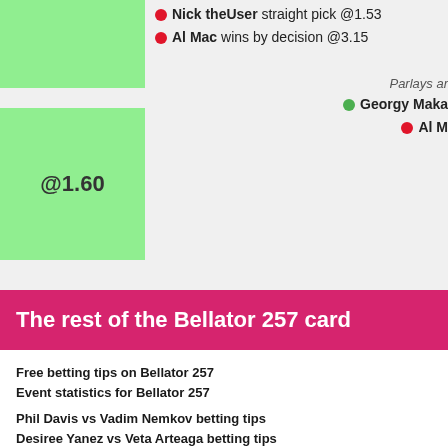Nick theUser straight pick @1.53
Al Mac wins by decision @3.15
@1.60
Parlays ar
Georgy Maka
Al M
The rest of the Bellator 257 card
Free betting tips on Bellator 257
Event statistics for Bellator 257
Phil Davis vs Vadim Nemkov betting tips
Desiree Yanez vs Veta Arteaga betting tips
Paul Daley vs Sabah Homasi betting tips
Julia Budd vs Dayana Silva betting tips
Gregory Milliard vs Julius Anglickas betting tips
Steve Mowry vs Shaun Asher betting tips
Grachik Bozinyan vs Demarques Jackson betting tips
Peter Stanonik vs Raymond Daniels betting tips
Lance Gibson Jr. vs Marcus Surin betting tips
Karl Albrektsson vs Viktor Nemkov betting tips
Mads Burnell vs Saul Rogers betting tips
Pedro Carvalho vs J.J. Wilson betting tips